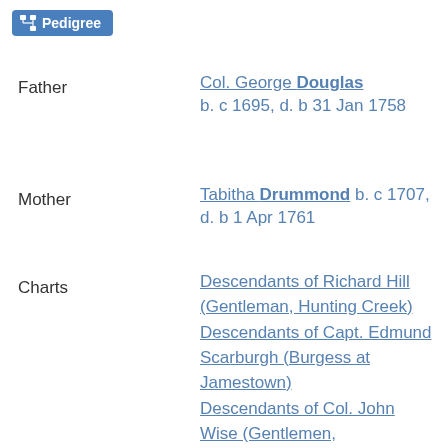Pedigree
Father
Col. George Douglas b. c 1695, d. b 31 Jan 1758
Mother
Tabitha Drummond b. c 1707, d. b 1 Apr 1761
Charts
Descendants of Richard Hill (Gentleman, Hunting Creek)
Descendants of Capt. Edmund Scarburgh (Burgess at Jamestown)
Descendants of Col. John Wise (Gentlemen, Chesconessex)
Descendants of Charlemagne (741-813, King of the Franks & Holy Roman